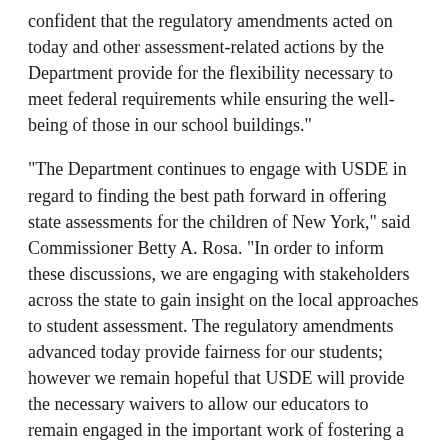confident that the regulatory amendments acted on today and other assessment-related actions by the Department provide for the flexibility necessary to meet federal requirements while ensuring the well-being of those in our school buildings."
“The Department continues to engage with USDE in regard to finding the best path forward in offering state assessments for the children of New York,” said Commissioner Betty A. Rosa. “In order to inform these discussions, we are engaging with stakeholders across the state to gain insight on the local approaches to student assessment. The regulatory amendments advanced today provide fairness for our students; however we remain hopeful that USDE will provide the necessary waivers to allow our educators to remain engaged in the important work of fostering a safe and healthy learning environment for each child in New York state.”
Summary of the AmendmentsA summary of the amendments follows. Full descriptions of the changes can be found in the Regents item.